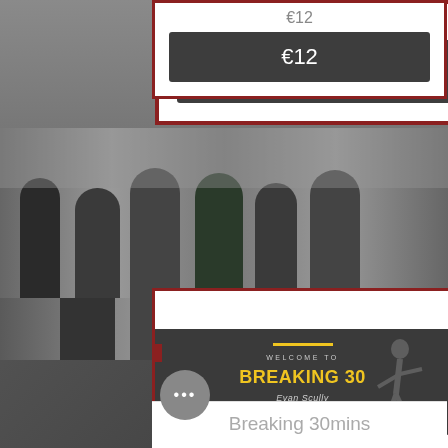€12
[Figure (screenshot): Dark button showing price €12]
[Figure (photo): Group of people at an outdoor running/fitness event, street setting]
[Figure (screenshot): App screen showing 'WELCOME TO BREAKING 30 - Evan Scully' with yellow accent lines on dark background]
Breaking 30mins